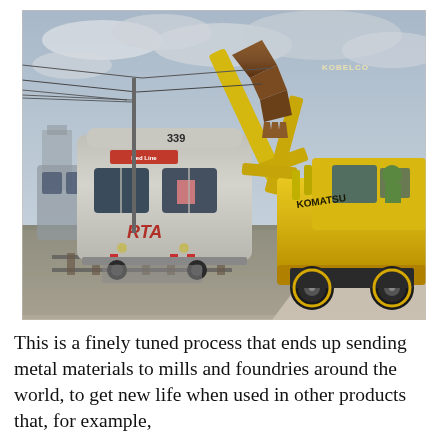[Figure (photo): A yellow Komatsu excavator with a Kobelco attachment arm tearing apart an RTA Red Line rail car numbered 339. The rail car is tilted and being dismantled on gravel tracks. An operator in a green vest sits in the excavator cab. Power lines are visible in the overcast sky background.]
This is a finely tuned process that ends up sending metal materials to mills and foundries around the world, to get new life when used in other products that, for example,